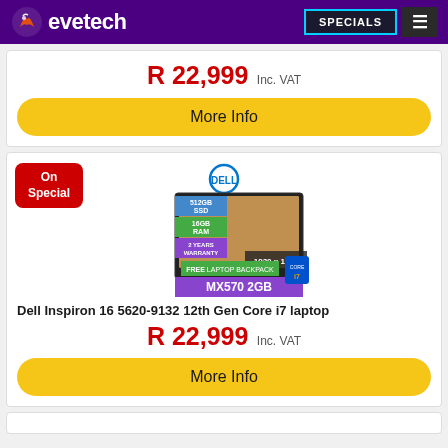evetech — SPECIALS
R 22,999 Inc. VAT
More Info
[Figure (photo): Dell Inspiron 16 5620-9132 laptop product image with specs: 512GB SSD, 16GB RAM, 2 Years Warranty, 1920x1200, MX570 2GB, FREE Laptop Backpack. On Special badge (red). Dell logo.]
Dell Inspiron 16 5620-9132 12th Gen Core i7 laptop
R 22,999 Inc. VAT
More Info